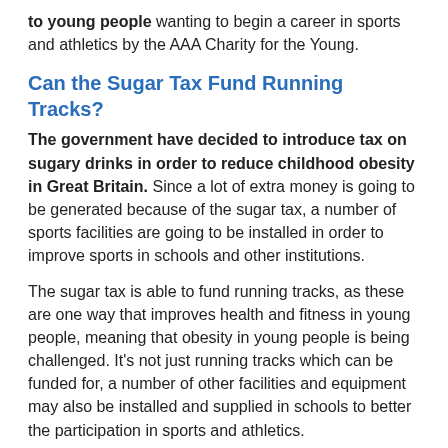to young people wanting to begin a career in sports and athletics by the AAA Charity for the Young.
Can the Sugar Tax Fund Running Tracks?
The government have decided to introduce tax on sugary drinks in order to reduce childhood obesity in Great Britain. Since a lot of extra money is going to be generated because of the sugar tax, a number of sports facilities are going to be installed in order to improve sports in schools and other institutions.
The sugar tax is able to fund running tracks, as these are one way that improves health and fitness in young people, meaning that obesity in young people is being challenged. It's not just running tracks which can be funded for, a number of other facilities and equipment may also be installed and supplied in schools to better the participation in sports and athletics.
Numerous sporting clubs, as well as universities, have started to have more cost-effective features installed. Many nearby schools and colleges in your surrounding area in West Dunbartonshire are finding it difficult to renew their sports facilities for a variety of